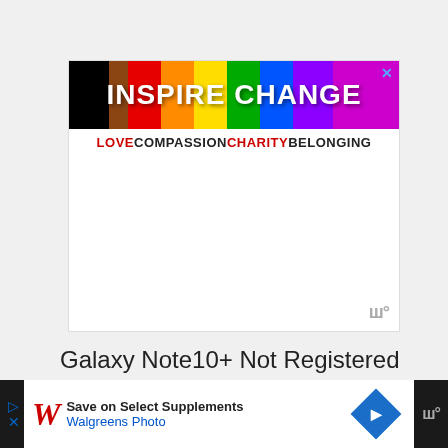[Figure (screenshot): Inspire Change advertisement banner with rainbow gradient background, bold white text 'INSPIRE CHANGE' and tagline 'LOVE COMPASSION CHARITY BELONGING' below]
Galaxy Note10+ Not Registered On Network fix #2: Restart device
[Figure (screenshot): Walgreens Photo advertisement banner at bottom: 'Save on Select Supplements, Walgreens Photo' with navigation arrow and Walgreens logo]